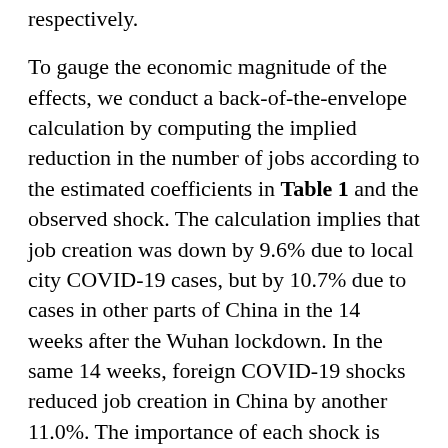respectively.
To gauge the economic magnitude of the effects, we conduct a back-of-the-envelope calculation by computing the implied reduction in the number of jobs according to the estimated coefficients in Table 1 and the observed shock. The calculation implies that job creation was down by 9.6% due to local city COVID-19 cases, but by 10.7% due to cases in other parts of China in the 14 weeks after the Wuhan lockdown. In the same 14 weeks, foreign COVID-19 shocks reduced job creation in China by another 11.0%. The importance of each shock is also time-varying. According to Figure 1, which plots the